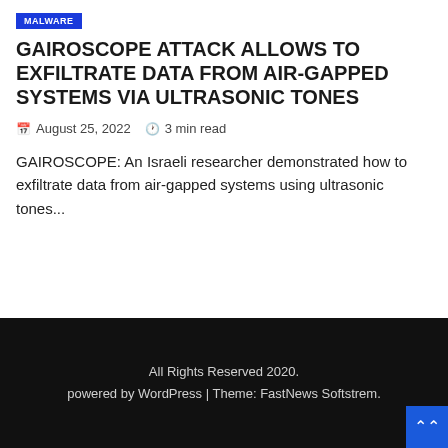GAIROSCOPE ATTACK ALLOWS TO EXFILTRATE DATA FROM AIR-GAPPED SYSTEMS VIA ULTRASONIC TONES
August 25, 2022   3 min read
GAIROSCOPE: An Israeli researcher demonstrated how to exfiltrate data from air-gapped systems using ultrasonic tones...
All Rights Reserved 2020.
powered by WordPress | Theme: FastNews Softstrem.